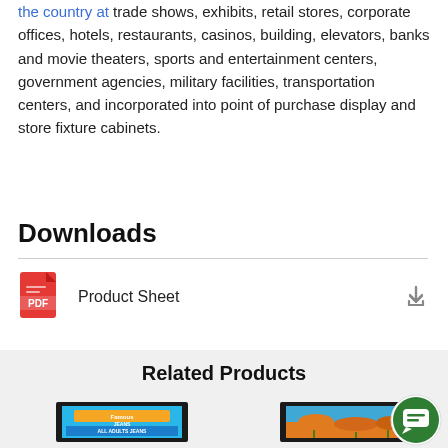the country at trade shows, exhibits, retail stores, corporate offices, hotels, restaurants, casinos, building, elevators, banks and movie theaters, sports and entertainment centers, government agencies, military facilities, transportation centers, and incorporated into point of purchase display and store fixture cabinets.
Downloads
Product Sheet
Related Products
[Figure (photo): Two framed digital display panels showing related products — left panel shows a retail jeans advertisement, right panel shows an outdoor nature scene with orange flowers.]